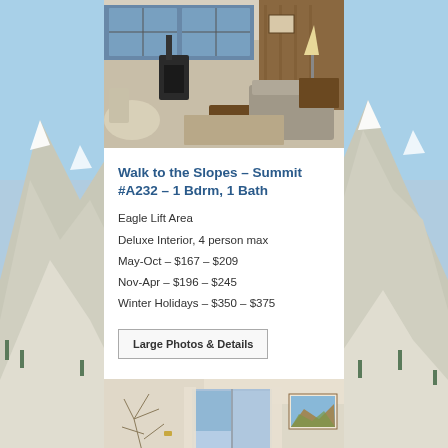[Figure (photo): Interior photo of a ski condo living room with wood stove, couch, coffee table, and wood-paneled walls with large windows]
Walk to the Slopes – Summit #A232 – 1 Bdrm, 1 Bath
Eagle Lift Area
Deluxe Interior, 4 person max
May-Oct – $167 – $209
Nov-Apr – $196 – $245
Winter Holidays – $350 – $375
Large Photos & Details
[Figure (photo): Interior photo of a bedroom or living area with artwork on the wall and a sliding glass door]